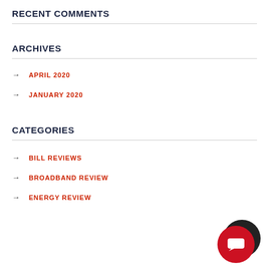RECENT COMMENTS
ARCHIVES
APRIL 2020
JANUARY 2020
CATEGORIES
BILL REVIEWS
BROADBAND REVIEW
ENERGY REVIEW